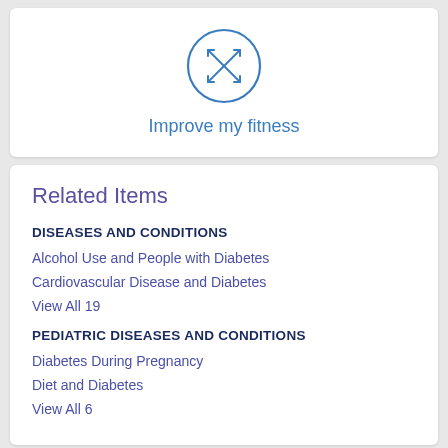[Figure (illustration): Circular icon with a dumbbell/fitness symbol inside, drawn in blue outline style]
Improve my fitness
Related Items
DISEASES AND CONDITIONS
Alcohol Use and People with Diabetes
Cardiovascular Disease and Diabetes
View All 19
PEDIATRIC DISEASES AND CONDITIONS
Diabetes During Pregnancy
Diet and Diabetes
View All 6